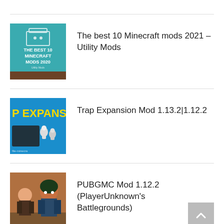[Figure (illustration): Book cover: The Best 10 Minecraft Mods 2020, teal/blue background with toolbox icon]
The best 10 Minecraft mods 2021 – Utility Mods
[Figure (illustration): Trap Expansion Mod thumbnail: blue background with text 'P EXPANS' in yellow, showing chess pieces on a dark tray]
Trap Expansion Mod 1.13.2|1.12.2
[Figure (illustration): PUBGMC Mod thumbnail: Minecraft characters in PUBG style]
PUBGMC Mod 1.12.2 (PlayerUnknown's Battlegrounds)